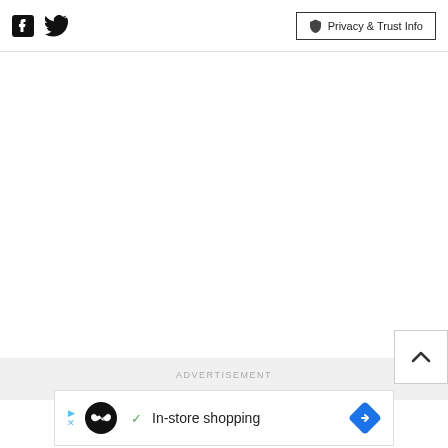Facebook icon | Twitter icon | Privacy & Trust Info
[Figure (screenshot): Back to top button with upward caret chevron icon, positioned at right side]
ADVERTISEMENT
[Figure (screenshot): Advertisement banner with play/close icon, circular logo with infinity-like symbol, green checkmark, 'In-store shopping' text, and blue diamond arrow icon]